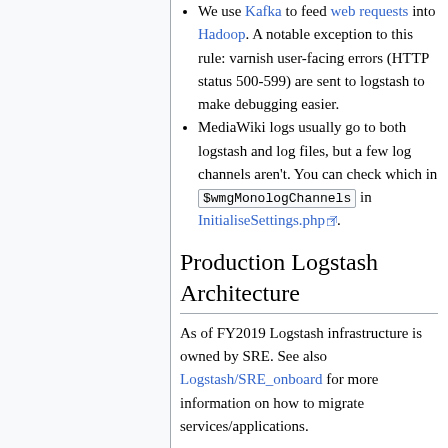We use Kafka to feed web requests into Hadoop. A notable exception to this rule: varnish user-facing errors (HTTP status 500-599) are sent to logstash to make debugging easier.
MediaWiki logs usually go to both logstash and log files, but a few log channels aren't. You can check which in $wmgMonologChannels in InitialiseSettings.php.
Production Logstash Architecture
As of FY2019 Logstash infrastructure is owned by SRE. See also Logstash/SRE_onboard for more information on how to migrate services/applications.
Architecture Diagram